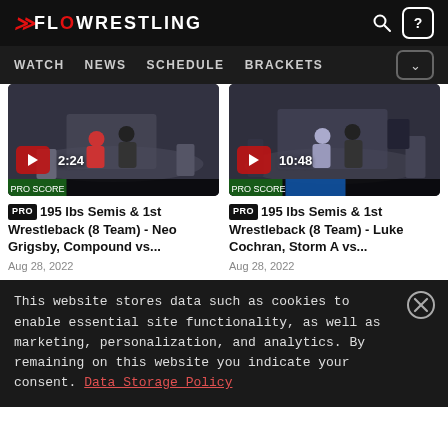FLOWRESTLING
[Figure (screenshot): Video thumbnail for 195 lbs Semis & 1st Wrestleback (8 Team) - Neo Grigsby, Compound vs... with play button and duration 2:24]
[Figure (screenshot): Video thumbnail for 195 lbs Semis & 1st Wrestleback (8 Team) - Luke Cochran, Storm A vs... with play button and duration 10:48]
PRO 195 lbs Semis & 1st Wrestleback (8 Team) - Neo Grigsby, Compound vs...
Aug 28, 2022
PRO 195 lbs Semis & 1st Wrestleback (8 Team) - Luke Cochran, Storm A vs...
Aug 28, 2022
This website stores data such as cookies to enable essential site functionality, as well as marketing, personalization, and analytics. By remaining on this website you indicate your consent. Data Storage Policy